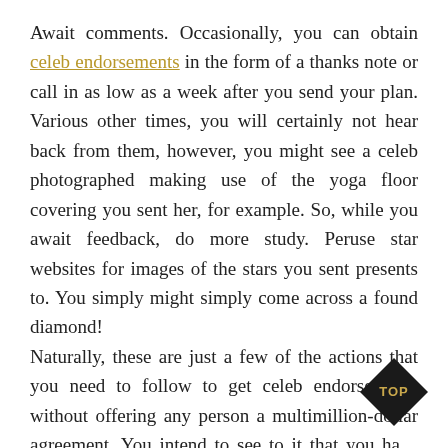Await comments. Occasionally, you can obtain celeb endorsements in the form of a thanks note or call in as low as a week after you send your plan. Various other times, you will certainly not hear back from them, however, you might see a celeb photographed making use of the yoga floor covering you sent her, for example. So, while you await feedback, do more study. Peruse star websites for images of the stars you sent presents to. You simply might simply come across a found diamond! Naturally, these are just a few of the actions that you need to follow to get celeb endorsements without offering any person a multimillion-dollar agreement. You intend to see to it that you have done your research, are sending out gifts to cel…
[Figure (other): Black diamond-shaped badge with 'TOP' text in white on gold/yellow background]